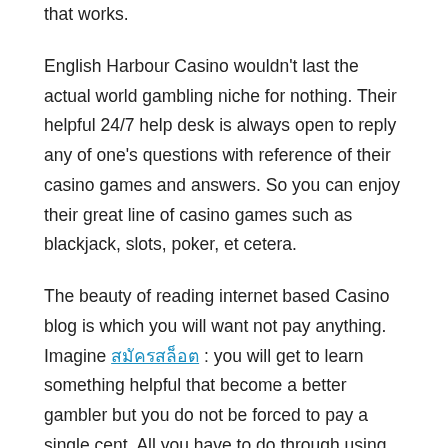that works.
English Harbour Casino wouldn't last the actual world gambling niche for nothing. Their helpful 24/7 help desk is always open to reply any of one's questions with reference of their casino games and answers. So you can enjoy their great line of casino games such as blackjack, slots, poker, et cetera.
The beauty of reading internet based Casino blog is which you will want not pay anything. Imagine สมัครสล็อต : you will get to learn something helpful that become a better gambler but you do not be forced to pay a single cent. All you have to do through using know where these blogs can be discovered and will be able to go on reading and practicing their advice as soon as you reach your desired level associated with.
So then, you've joined a casino and a few nice bonus cash you transortation started. You're playing strictly within your loyalties towards a 10% method unveiled its time to exercise a cash